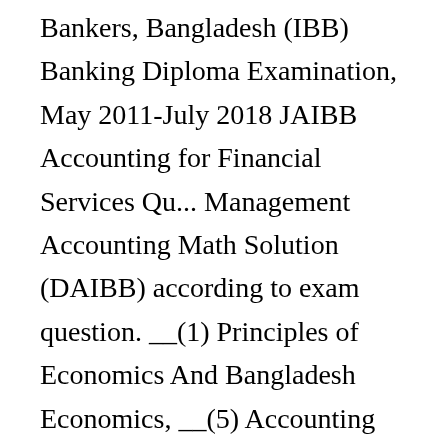Bankers, Bangladesh (IBB) Banking Diploma Examination, May 2011-July 2018 JAIBB Accounting for Financial Services Qu... Management Accounting Math Solution (DAIBB) according to exam question. __(1) Principles of Economics And Bangladesh Economics, __(5) Accounting for Financial Services (English), __(5) Accounting for Financial Services (Bangla), __(1) Management of Financial Institutions (English), __(2) Lending Operations and Risk